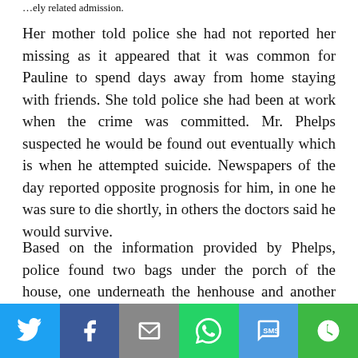...ely related admission.
Her mother told police she had not reported her missing as it appeared that it was common for Pauline to spend days away from home staying with friends. She told police she had been at work when the crime was committed. Mr. Phelps suspected he would be found out eventually which is when he attempted suicide. Newspapers of the day reported opposite prognosis for him, in one he was sure to die shortly, in others the doctors said he would survive.
Based on the information provided by Phelps, police found two bags under the porch of the house, one underneath the henhouse and another under a dog house. The fifth was under a shed
[Figure (infographic): Social sharing bar with six buttons: Twitter (blue bird icon), Facebook (dark blue f icon), Email (grey envelope icon), WhatsApp (green phone icon), SMS (blue SMS icon), More (green circular arrow icon)]